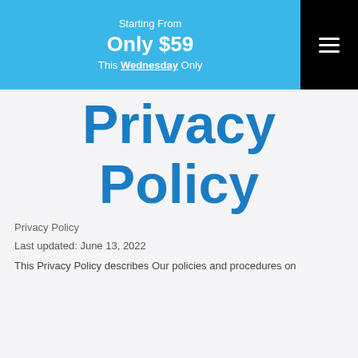Starting From
Only $59
This Wednesday Only
Privacy Policy
Privacy Policy
Last updated: June 13, 2022
This Privacy Policy describes Our policies and procedures on